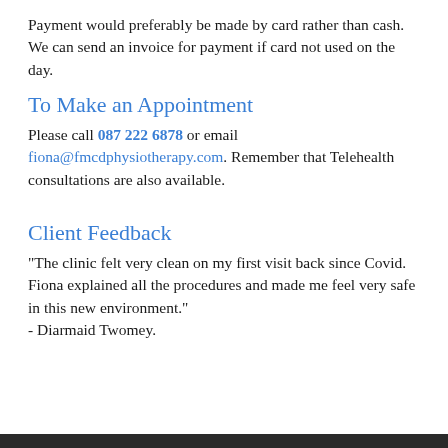Payment would preferably be made by card rather than cash. We can send an invoice for payment if card not used on the day.
To Make an Appointment
Please call 087 222 6878 or email fiona@fmcdphysiotherapy.com. Remember that Telehealth consultations are also available.
Client Feedback
"The clinic felt very clean on my first visit back since Covid. Fiona explained all the procedures and made me feel very safe in this new environment."
- Diarmaid Twomey.